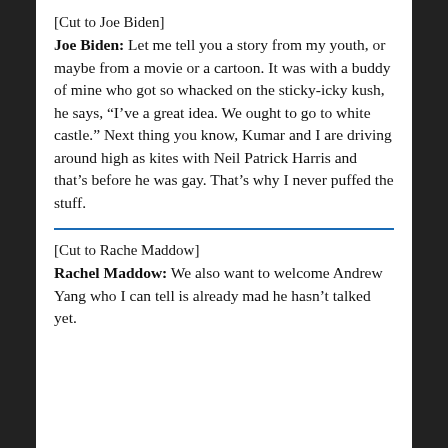[Cut to Joe Biden]
Joe Biden: Let me tell you a story from my youth, or maybe from a movie or a cartoon. It was with a buddy of mine who got so whacked on the sticky-icky kush, he says, “I’ve a great idea. We ought to go to white castle.” Next thing you know, Kumar and I are driving around high as kites with Neil Patrick Harris and that’s before he was gay. That’s why I never puffed the stuff.
[Cut to Rache Maddow]
Rachel Maddow: We also want to welcome Andrew Yang who I can tell is already mad he hasn’t talked yet.